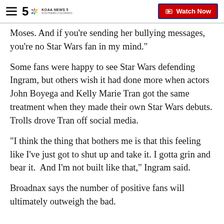KOAA News 5 Southern Colorado | Watch Now
Moses. And if you're sending her bullying messages, you're no Star Wars fan in my mind."
Some fans were happy to see Star Wars defending Ingram, but others wish it had done more when actors John Boyega and Kelly Marie Tran got the same treatment when they made their own Star Wars debuts. Trolls drove Tran off social media.
"I think the thing that bothers me is that this feeling like I've just got to shut up and take it. I gotta grin and bear it.  And I'm not built like that," Ingram said.
Broadnax says the number of positive fans will ultimately outweigh the bad.